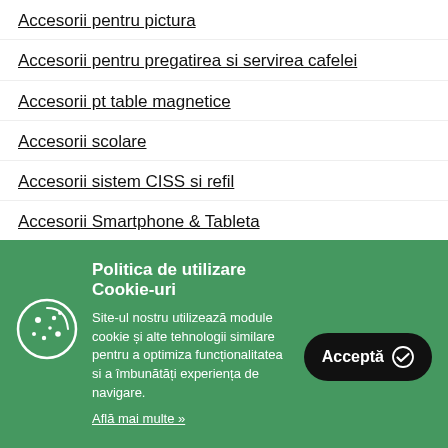Accesorii pentru pictura
Accesorii pentru pregatirea si servirea cafelei
Accesorii pt table magnetice
Accesorii scolare
Accesorii sistem CISS si refil
Accesorii Smartphone & Tableta
Accesorii tablete
Politica de utilizare Cookie-uri
Site-ul nostru utilizează module cookie și alte tehnologii similare pentru a optimiza funcționalitatea si a îmbunătăți experiența de navigare.
Află mai multe »